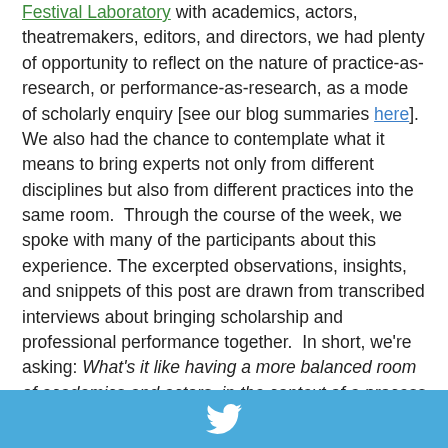Festival Laboratory with academics, actors, theatremakers, editors, and directors, we had plenty of opportunity to reflect on the nature of practice-as-research, or performance-as-research, as a mode of scholarly enquiry [see our blog summaries here].  We also had the chance to contemplate what it means to bring experts not only from different disciplines but also from different practices into the same room.  Through the course of the week, we spoke with many of the participants about this experience. The excerpted observations, insights, and snippets of this post are drawn from transcribed interviews about bringing scholarship and professional performance together.  In short, we're asking: What's it like having a more balanced room of academics and actors, in the context of a process with no final product to work towards?  Please feel free to keep the conversation going in the comments... The next post will build on the comments here, sharing participants' thoughts on ways forward— possible
[Figure (other): Twitter share button bar - blue background with white Twitter bird icon]